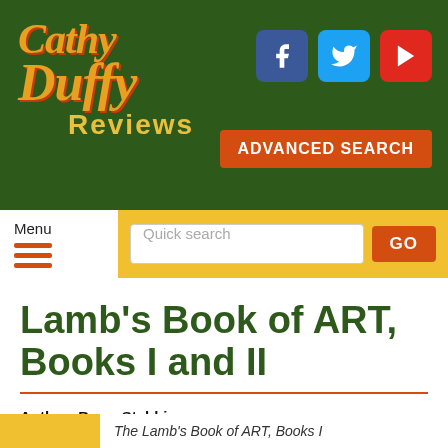[Figure (logo): Cathy Duffy Reviews logo with stylized script text in orange/gold on dark green background]
[Figure (infographic): Social media icons: Facebook (blue), Twitter (cyan), YouTube (red) in rounded square buttons]
ADVANCED SEARCH
Menu
Quick search
GO
Lamb's Book of ART, Books I and II
Author: Barry Stebbing
Publisher: How Great Thou ART Publications
01 March 2016
The Lamb's Book of ART, Books I